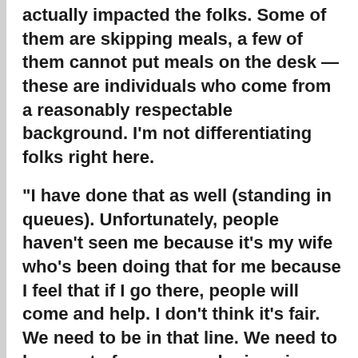actually impacted the folks. Some of them are skipping meals, a few of them cannot put meals on the desk — these are individuals who come from a reasonably respectable background. I'm not differentiating folks right here.
“I have done that as well (standing in queues). Unfortunately, people haven’t seen me because it’s my wife who’s been doing that for me because I feel that if I go there, people will come and help. I don’t think it’s fair. We need to be in that line. We need to be a part of everyone who is going through this struggle and show our support to everyone,” stated the previous cricketer.
Promoted